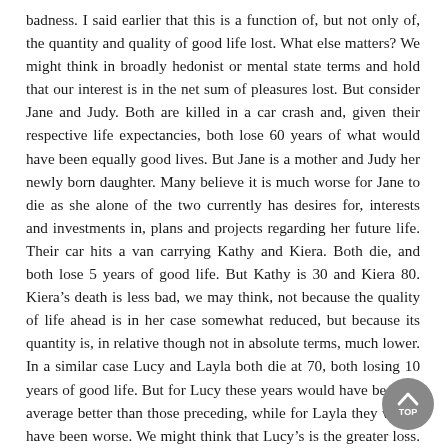badness. I said earlier that this is a function of, but not only of, the quantity and quality of good life lost. What else matters? We might think in broadly hedonist or mental state terms and hold that our interest is in the net sum of pleasures lost. But consider Jane and Judy. Both are killed in a car crash and, given their respective life expectancies, both lose 60 years of what would have been equally good lives. But Jane is a mother and Judy her newly born daughter. Many believe it is much worse for Jane to die as she alone of the two currently has desires for, interests and investments in, plans and projects regarding her future life. Their car hits a van carrying Kathy and Kiera. Both die, and both lose 5 years of good life. But Kathy is 30 and Kiera 80. Kiera's death is less bad, we may think, not because the quality of life ahead is in her case somewhat reduced, but because its quantity is, in relative though not in absolute terms, much lower. In a similar case Lucy and Layla both die at 70, both losing 10 years of good life. But for Lucy these years would have been on average better than those preceding, while for Layla they would have been worse. We might think that Lucy's is the greater loss. In a coma case. Maddy and Mysia both lose a year to a coma